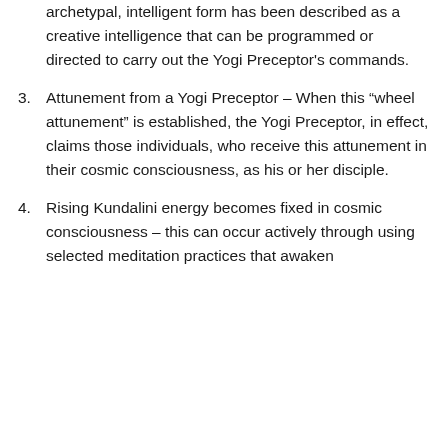archetypal, intelligent form has been described as a creative intelligence that can be programmed or directed to carry out the Yogi Preceptor's commands.
3. Attunement from a Yogi Preceptor – When this “wheel attunement” is established, the Yogi Preceptor, in effect, claims those individuals, who receive this attunement in their cosmic consciousness, as his or her disciple.
4. Rising Kundalini energy becomes fixed in cosmic consciousness – this can occur actively through using selected meditation practices that awaken Kundalini in their cosmic...